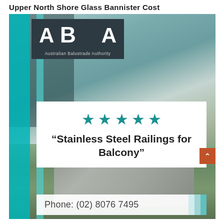Upper North Shore Glass Bannister Cost
[Figure (photo): Photo of glass and stainless steel balustrade/railing on a balcony, with ABA (Australian Balustrade Authority) logo in top left, five teal stars and a review quote 'Stainless Steel Railings for Balcony' overlaid on a white card, and a phone number strip at the bottom showing Phone: (02) 8076 7495]
Phone: (02) 8076 7495